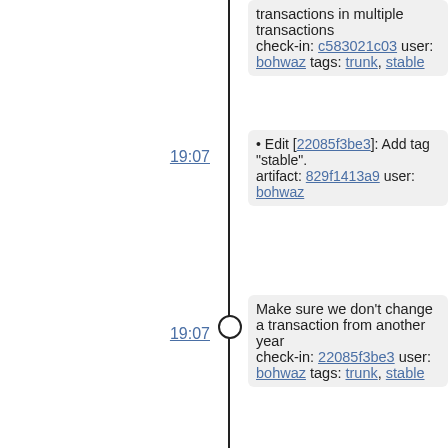transactions in multiple transactions
check-in: c583021c03 user: bohwaz tags: trunk, stable
Edit [22085f3be3]: Add tag "stable".
artifact: 829f1413a9 user: bohwaz
Make sure we don't change a transaction from another year
check-in: 22085f3be3 user: bohwaz tags: trunk, stable
Edit [6abc5e4b43]: Add propagating tag "trunk".
artifact: f543266278 user: bohwaz
Fix decryption in edit form
check-in: 6abc5e4b43 user: bohwaz tags: trunk, stable
Add header for projects, and add title to other reports
check-in: 230bc8e3c1 user: bohwaz tags: stable
Add transaction reference to service subscription